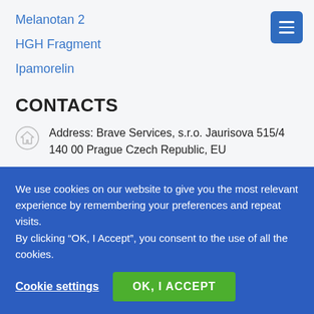Melanotan 2
HGH Fragment
Ipamorelin
CONTACTS
Address: Brave Services, s.r.o. Jaurisova 515/4 140 00 Prague Czech Republic, EU
Monday-Friday: 9:00 AM - 4:00 PM Saturday: 9:00 AM -
We use cookies on our website to give you the most relevant experience by remembering your preferences and repeat visits.
By clicking “OK, I Accept”, you consent to the use of all the cookies.
Cookie settings
OK, I ACCEPT